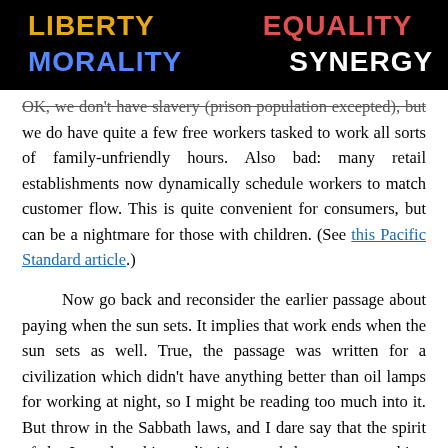LIBERTY   EQUALITY   NATURE   MORALITY   SYNERGY
OK, we don't have slavery (prison population excepted), but we do have quite a few free workers tasked to work all sorts of family-unfriendly hours. Also bad: many retail establishments now dynamically schedule workers to match customer flow. This is quite convenient for consumers, but can be a nightmare for those with children. (See this Pacific Standard article.)
Now go back and reconsider the earlier passage about paying when the sun sets. It implies that work ends when the sun sets as well. True, the passage was written for a civilization which didn't have anything better than oil lamps for working at night, so I might be reading too much into it. But throw in the Sabbath laws, and I dare say that the spirit of the Law does hint at limiting work hours to something reasonable.